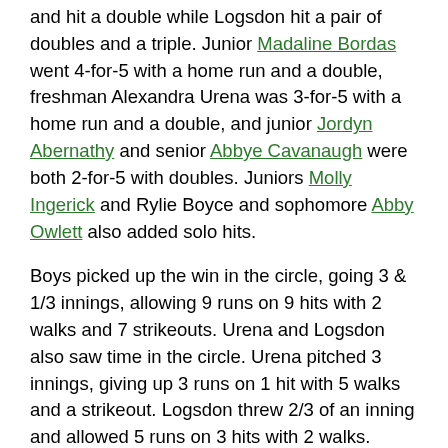and hit a double while Logsdon hit a pair of doubles and a triple. Junior Madaline Bordas went 4-for-5 with a home run and a double, freshman Alexandra Urena was 3-for-5 with a home run and a double, and junior Jordyn Abernathy and senior Abbye Cavanaugh were both 2-for-5 with doubles. Juniors Molly Ingerick and Rylie Boyce and sophomore Abby Owlett also added solo hits.
Boys picked up the win in the circle, going 3 & 1/3 innings, allowing 9 runs on 9 hits with 2 walks and 7 strikeouts. Urena and Logsdon also saw time in the circle. Urena pitched 3 innings, giving up 3 runs on 1 hit with 5 walks and a strikeout. Logsdon threw 2/3 of an inning and allowed 5 runs on 3 hits with 2 walks.
The win improves the Lady Hornets to 4-9 (2-7 NTL Large School Division). The team is back in action on Friday, April 29 at North Penn-Liberty.